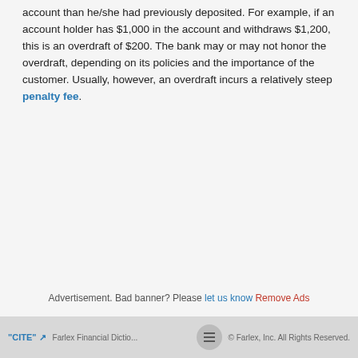account than he/she had previously deposited. For example, if an account holder has $1,000 in the account and withdraws $1,200, this is an overdraft of $200. The bank may or may not honor the overdraft, depending on its policies and the importance of the customer. Usually, however, an overdraft incurs a relatively steep penalty fee.
Advertisement. Bad banner? Please let us know Remove Ads
"CITE" Farlex Financial Dictionary. © Farlex, Inc. All Rights Reserved.